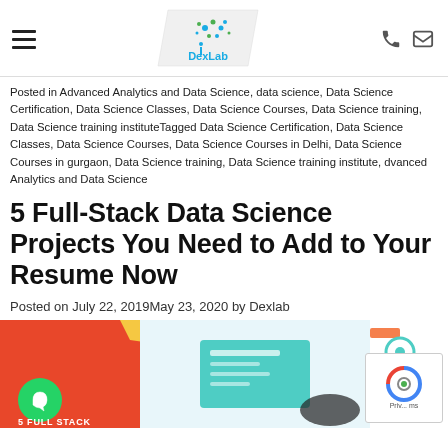DexLab
Posted in Advanced Analytics and Data Science, data science, Data Science Certification, Data Science Classes, Data Science Courses, Data Science training, Data Science training instituteTagged Data Science Certification, Data Science Classes, Data Science Courses, Data Science Courses in Delhi, Data Science Courses in gurgaon, Data Science training, Data Science training institute, dvanced Analytics and Data Science
5 Full-Stack Data Science Projects You Need to Add to Your Resume Now
Posted on July 22, 2019May 23, 2020 by Dexlab
[Figure (illustration): Illustration banner for the article showing a person using a tablet/laptop with data visualizations, orange and teal color scheme, with '5 FULL STACK' text at the bottom left]